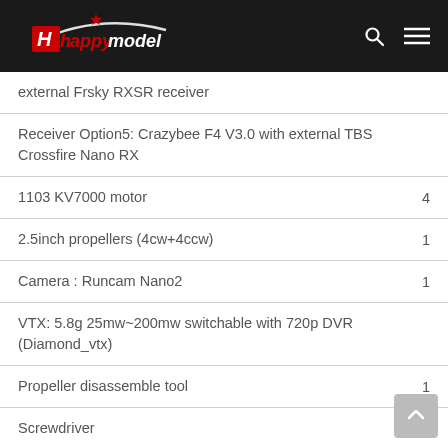Happymodel
external Frsky RXSR receiver
Receiver Option5: Crazybee F4 V3.0 with external TBS Crossfire Nano RX
1103 KV7000 motor	4
2.5inch propellers (4cw+4ccw)	1
Camera : Runcam Nano2	1
VTX: 5.8g 25mw~200mw switchable with 720p DVR (Diamond_vtx)
Propeller disassemble tool	1
Screwdriver	1
Spare parts specifications: